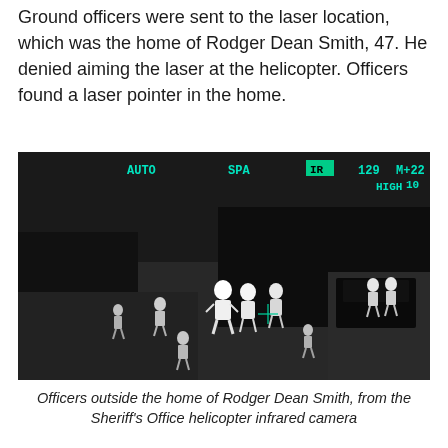Ground officers were sent to the laser location, which was the home of Rodger Dean Smith, 47. He denied aiming the laser at the helicopter. Officers found a laser pointer in the home.
[Figure (photo): Infrared/thermal camera view from helicopter showing officers outside a home at night. Black and white thermal image with HUD overlays showing AUTO, SPA, IR, 129, HIGH, M+22, 10. Multiple human figures visible as bright white forms outside a dark building structure.]
Officers outside the home of Rodger Dean Smith, from the Sheriff's Office helicopter infrared camera
Officers also found 12 firearms. As a convicted felon, Smith is prohibited from having firearms.
He was charged with 12 counts of possession of a firearm by a convicted felon, assault on a law enforcement officer,